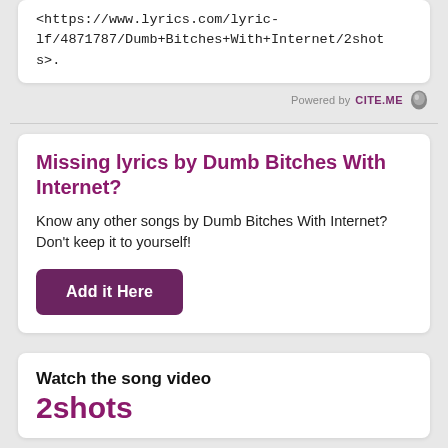<https://www.lyrics.com/lyric-lf/4871787/Dumb+Bitches+With+Internet/2shots>.
Powered by CITE.ME
Missing lyrics by Dumb Bitches With Internet?
Know any other songs by Dumb Bitches With Internet? Don't keep it to yourself!
Add it Here
Watch the song video
2shots